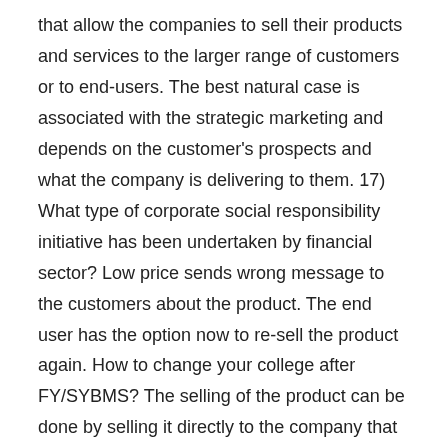that allow the companies to sell their products and services to the larger range of customers or to end-users. The best natural case is associated with the strategic marketing and depends on the customer's prospects and what the company is delivering to them. 17) What type of corporate social responsibility initiative has been undertaken by financial sector? Low price sends wrong message to the customers about the product. The end user has the option now to re-sell the product again. How to change your college after FY/SYBMS? The selling of the product can be done by selling it directly to the company that comes in geographical network of the dealer. the management's view of what the organization seek to do and to become over the long-term is the organization's strategic management. Here you will also get the necessary information about the professional training required and the institutions who can help you to view specialize in a Strategic Management job. 17) What type of corporate social responsibility initiative has been undertaken by financial sector? TYBMS Sem 6 Results 2019 Update from BMS khabri! - Allow the